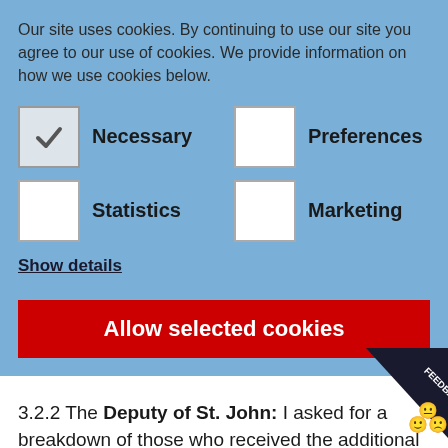Our site uses cookies. By continuing to use our site you agree to our use of cookies. We provide information on how we use cookies below.
Necessary (checked)
Preferences
Statistics
Marketing
Show details
Allow selected cookies
3.2.2 The Deputy of St. John: I asked for a breakdown of those who received the additional ...
Is the Minister considering a reconfiguration of the Arts Centre is thi